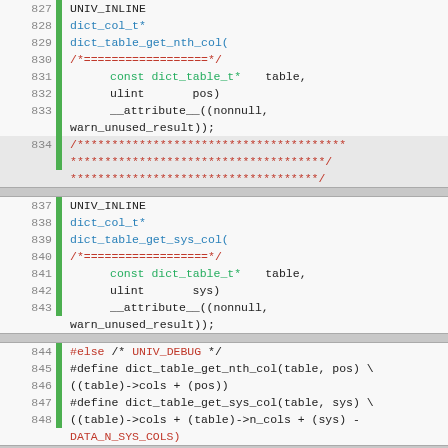[Figure (screenshot): Source code listing showing C/C++ code with line numbers 827-859, featuring function declarations for dict_table_get_nth_col, dict_table_get_sys_col, and dict_table_get_sys_col_no with preprocessor directives and attributes.]